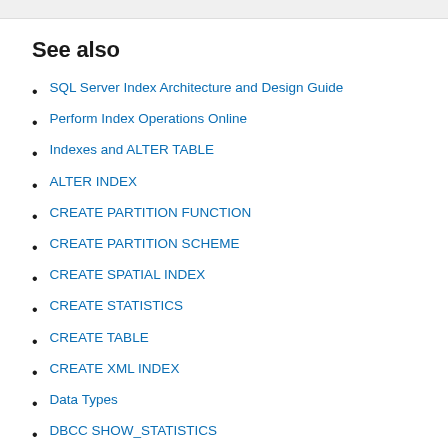See also
SQL Server Index Architecture and Design Guide
Perform Index Operations Online
Indexes and ALTER TABLE
ALTER INDEX
CREATE PARTITION FUNCTION
CREATE PARTITION SCHEME
CREATE SPATIAL INDEX
CREATE STATISTICS
CREATE TABLE
CREATE XML INDEX
Data Types
DBCC SHOW_STATISTICS
DROP INDEX
XML Indexes (SQL Server)